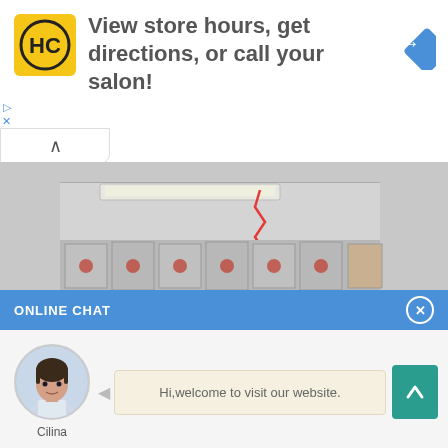[Figure (logo): HC yellow logo with black letters HC inside a circle]
View store hours, get directions, or call your salon!
[Figure (other): Blue diamond navigation arrow icon]
[Figure (photo): Industrial warehouse interior with packaged machines wrapped in plastic, fluorescent ceiling lights, and a red laser line]
ONLINE CHAT
[Figure (photo): Avatar photo of a young woman named Cilina in a white top]
Hi,welcome to visit our website.
Cilina